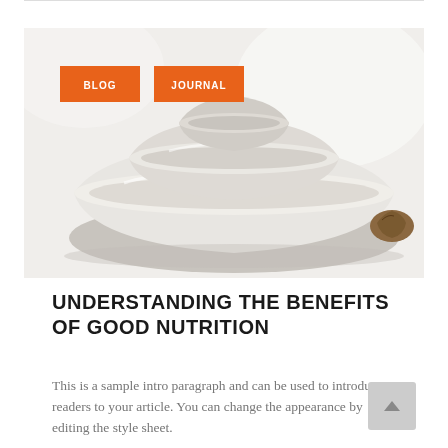[Figure (photo): Photo of two stacked white ceramic bowls on a white surface, with soft light background. Orange tag buttons labeled BLOG and JOURNAL overlaid on the top-left of the image.]
UNDERSTANDING THE BENEFITS OF GOOD NUTRITION
This is a sample intro paragraph and can be used to introduce readers to your article. You can change the appearance by editing the style sheet.